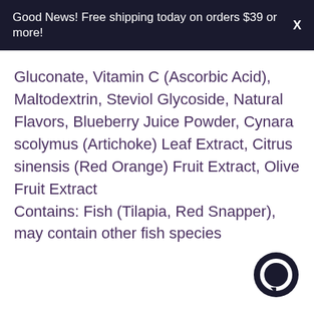Good News! Free shipping today on orders $39 or more!  X
Gluconate, Vitamin C (Ascorbic Acid), Maltodextrin, Steviol Glycoside, Natural Flavors, Blueberry Juice Powder, Cynara scolymus (Artichoke) Leaf Extract, Citrus sinensis (Red Orange) Fruit Extract, Olive Fruit Extract
Contains: Fish (Tilapia, Red Snapper), may contain other fish species